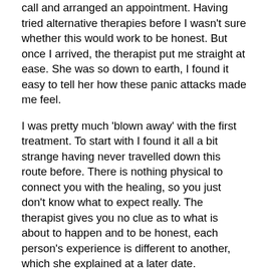call and arranged an appointment. Having tried alternative therapies before I wasn't sure whether this would work to be honest. But once I arrived, the therapist put me straight at ease. She was so down to earth, I found it easy to tell her how these panic attacks made me feel.
I was pretty much 'blown away' with the first treatment. To start with I found it all a bit strange having never travelled down this route before. There is nothing physical to connect you with the healing, so you just don't know what to expect really. The therapist gives you no clue as to what is about to happen and to be honest, each person's experience is different to another, which she explained at a later date.
I was seated on a reclining lounger. I chose the music or background noise that I thought would relax me completely for the next 45 minutes. The therapist started the healing. I am not sure of the particular point in time that the healing started? All I know is that my eyes were closed, I felt relaxed and slowly colours appeared somewhere in front of me. Not just a few colours but an array of very bright and different shades on the same theme. I remember the mix of pink and mauve, probably the most, as I felt very calm when these colours appeared. There were some very pretty combinations of vivid orange